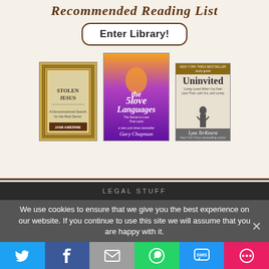[Figure (screenshot): Recommended Reading List library page screenshot showing 'Enter Library!' button and three book covers: Stolen Jesus by Jami Amerine, The 5 Love Languages by Gary Chapman, and Uninvited by Lysa TerKeurst]
LEGAL STUFF
We use cookies to ensure that we give you the best experience on our website. If you continue to use this site we will assume that you are happy with it.
[Figure (infographic): Social sharing bar with Twitter, Facebook, Email, WhatsApp, SMS, and More buttons]